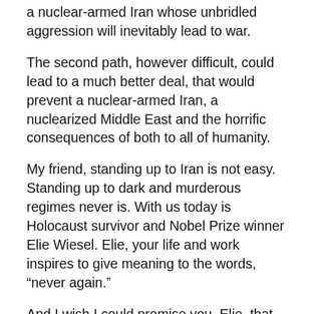a nuclear-armed Iran whose unbridled aggression will inevitably lead to war.
The second path, however difficult, could lead to a much better deal, that would prevent a nuclear-armed Iran, a nuclearized Middle East and the horrific consequences of both to all of humanity.
My friend, standing up to Iran is not easy. Standing up to dark and murderous regimes never is. With us today is Holocaust survivor and Nobel Prize winner Elie Wiesel. Elie, your life and work inspires to give meaning to the words, “never again.”
And I wish I could promise you, Elie, that the lessons of history have been learned. I can only urge the leaders of the world not to repeat the mistakes of the past.
Not to sacrifice the future for the present; not to ignore aggression in the hopes of gaining an illusory peace.
[Netanyahu now puts the world on notice that if America